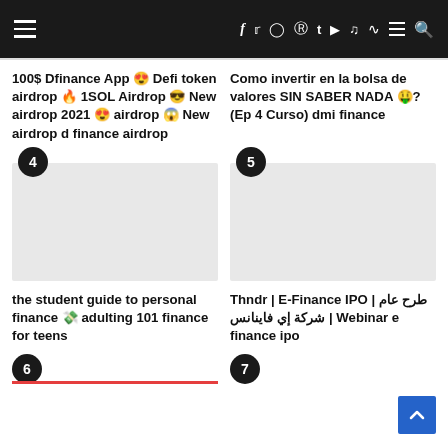Navigation bar with social media icons
100$ Dfinance App 😍 Defi token airdrop 🔥 1SOL Airdrop 😎 New airdrop 2021 😍 airdrop 😱 New airdrop d finance airdrop
Como invertir en la bolsa de valores SIN SABER NADA 🤑? (Ep 4 Curso) dmi finance
[Figure (other): Numbered badge 4 with gray thumbnail placeholder]
[Figure (other): Numbered badge 5 with gray thumbnail placeholder]
the student guide to personal finance 💸 adulting 101 finance for teens
Thndr | E-Finance IPO | طرح عام شركة إي فاينانس | Webinar e finance ipo
[Figure (other): Numbered badge 6 with red bar at bottom]
[Figure (other): Numbered badge 7]